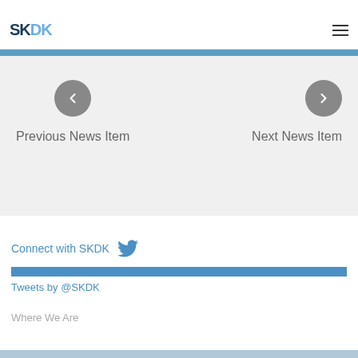Caraway Group, where she worked her way up to being
[Figure (logo): SKDK logo in dark blue and light blue]
Previous News Item
Next News Item
Connect with SKDK
Tweets by @SKDK
Where We Are